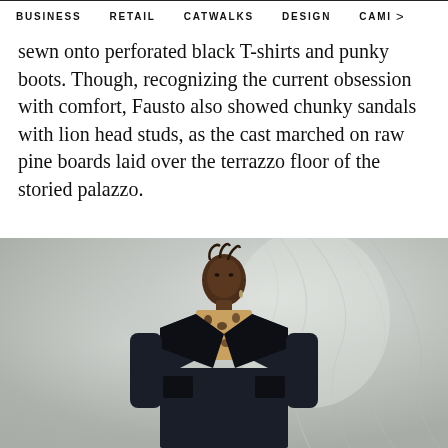BUSINESS   RETAIL   CATWALKS   DESIGN   CAMI >
sewn onto perforated black T-shirts and punky boots. Though, recognizing the current obsession with comfort, Fausto also showed chunky sandals with lion head studs, as the cast marched on raw pine boards laid over the terrazzo floor of the storied palazzo.
[Figure (photo): Fashion model wearing a dark navy coat with black leather lapels over a leopard print top, standing against a soft draped light-grey fabric background. The model has braided hair pulled back, small drop earrings, and a neutral expression.]